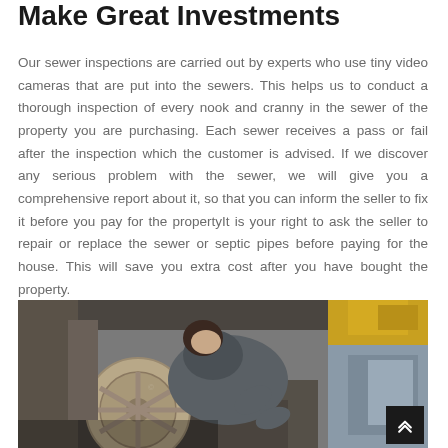Make Great Investments
Our sewer inspections are carried out by experts who use tiny video cameras that are put into the sewers. This helps us to conduct a thorough inspection of every nook and cranny in the sewer of the property you are purchasing. Each sewer receives a pass or fail after the inspection which the customer is advised. If we discover any serious problem with the sewer, we will give you a comprehensive report about it, so that you can inform the seller to fix it before you pay for the propertyIt is your right to ask the seller to repair or replace the sewer or septic pipes before paying for the house. This will save you extra cost after you have bought the property.
[Figure (photo): A worker in a grey jacket leaning over heavy industrial equipment or sewer machinery outdoors, with yellow and grey machinery visible in the background.]